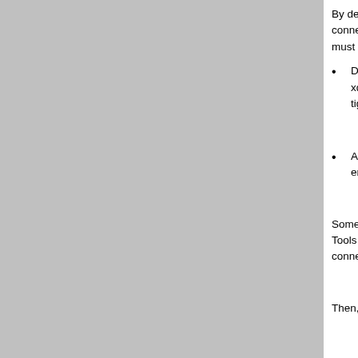By default, most current versions of Linux configure the X Server to accept remote connections only from local connections. If you wish to run Pathway Tools on a server and have the Pathway Tools windows show up on your local display, you must change this.
Debian and Ubuntu systems need the line "DisallowTCP=true" removed from all files in /etc/X11/ that contain xdm or gdm in which the string occurs. Likewise, for Linux from the RedHat family, X Server security has been tightend. To get around this, the file /etc/X11/gdm/gdm.conf can be edited to add
A different method around these restrictions is to log into the computer with SSH using the -X argument which enables forwarding X11 connections.
Sometimes the -X argument will not work, and using -Y instead may work. For example, in order to display Pathway Tools windows remotely on a Mac, you may need to use the -Y argument. The -Y argument tells SSH to consider the connection to be "trusted".
Then, launch Pathway tools from